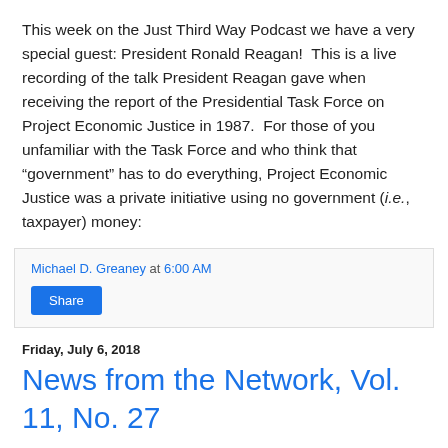This week on the Just Third Way Podcast we have a very special guest: President Ronald Reagan!  This is a live recording of the talk President Reagan gave when receiving the report of the Presidential Task Force on Project Economic Justice in 1987.  For those of you unfamiliar with the Task Force and who think that “government” has to do everything, Project Economic Justice was a private initiative using no government (i.e., taxpayer) money:
Michael D. Greaney at 6:00 AM
Share
Friday, July 6, 2018
News from the Network, Vol. 11, No. 27
One of the interesting things about investigating the roots of the Just Third Way is that we come across some interesting